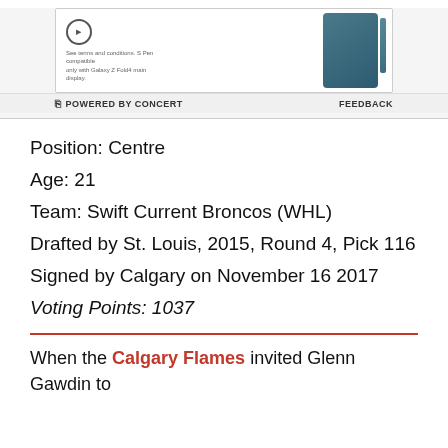[Figure (advertisement): Samsung Galaxy Z Fold advertisement banner with phone image, circle play button, and small text. Powered by Concert bar with FEEDBACK label.]
Position: Centre
Age: 21
Team: Swift Current Broncos (WHL)
Drafted by St. Louis, 2015, Round 4, Pick 116
Signed by Calgary on November 16 2017
Voting Points: 1037
When the Calgary Flames invited Glenn Gawdin to